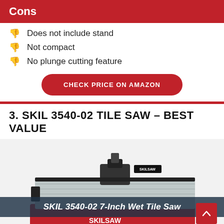Cons
Does not include stand
Not compact
No plunge cutting feature
CHECK PRICE ON AMAZON
3. SKIL 3540-02 TILE SAW – BEST VALUE
[Figure (photo): Photo of SKIL 3540-02 7-Inch Wet Tile Saw, showing the metallic table surface with blade guard and guide, red base with SKILSAW branding]
SKIL 3540-02 7-Inch Wet Tile Saw